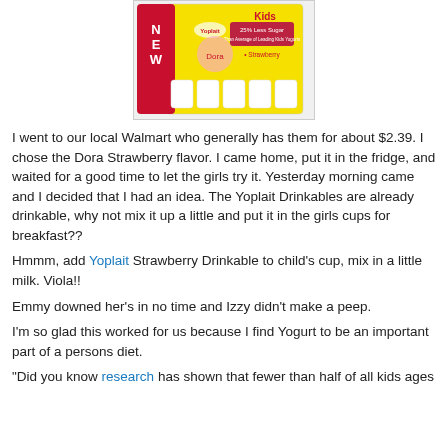[Figure (photo): Product photo of Yoplait Kids Dora Strawberry Drinkable yogurt multipack with yellow packaging]
I went to our local Walmart who generally has them for about $2.39. I chose the Dora Strawberry flavor. I came home, put it in the fridge, and waited for a good time to let the girls try it. Yesterday morning came and I decided that I had an idea. The Yoplait Drinkables are already drinkable, why not mix it up a little and put it in the girls cups for breakfast??
Hmmm, add Yoplait Strawberry Drinkable to child's cup, mix in a little milk. Viola!!
Emmy downed her's in no time and Izzy didn't make a peep.
I'm so glad this worked for us because I find Yogurt to be an important part of a persons diet.
"Did you know research has shown that fewer than half of all kids ages